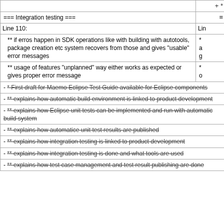|  | + * |
| === Integration testing === | ≡ |
| Line 110: | Lin |
| ** if erros happen in SDK operations like with building with autotools, package creation etc system recovers from those and gives "usable" error messages | *
a
g |
| ** usage of features "unplanned" way either works as expected or gives proper error message | *
o |
| - * First draft for Maemo Eclipse Test Guide available for Eclipse components (strikethrough) |  |
| - ** explains how automatic build environment is linked to product development (strikethrough) |  |
| - ** explains how Eclipse unit tests can be implemented and run with automatic build system (strikethrough) |  |
| - ** explains how automatice unit test results are published (strikethrough) |  |
| - ** explains how integration testing is linked to product development (strikethrough) |  |
| - ** explains how integration testing is done and what tools are used (strikethrough) |  |
| - ** explains how test case management and test result publishing are done (strikethrough) |  |